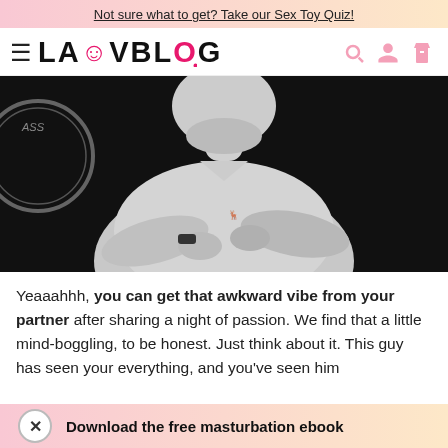Not sure what to get? Take our Sex Toy Quiz!
[Figure (logo): LAUVBLOG logo with hamburger menu icon and pink search, account, bag icons]
[Figure (photo): Black and white photo of a man with arms crossed wearing a light long-sleeve shirt with a small logo on chest, dark background]
Yeaaahhh, you can get that awkward vibe from your partner after sharing a night of passion. We find that a little mind-boggling, to be honest. Just think about it. This guy has seen your everything, and you've seen him
Download the free masturbation ebook